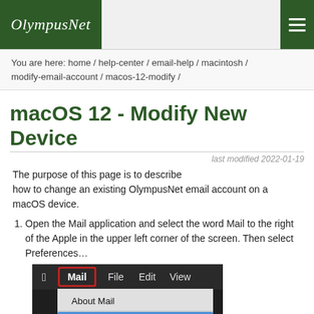OlympusNet [logo] [hamburger menu]
You are here: home / help-center / email-help / macintosh / modify-email-account / macos-12-modify /
macOS 12 - Modify New Device
last modified 2022-01-19
The purpose of this page is to describe how to change an existing OlympusNet email account on a macOS device.
1. Open the Mail application and select the word Mail to the right of the Apple in the upper left corner of the screen. Then select Preferences…
[Figure (screenshot): macOS Mail menu open showing Mail highlighted in red box in menu bar, with dropdown showing: About Mail, Preferences... (highlighted in blue with ⌘,), Accounts..., Add Account...]